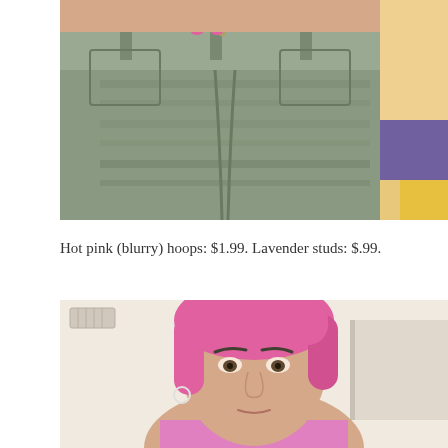[Figure (photo): Close-up photo of a person wearing light wash denim jeans, showing the waist/hip area. Pink straps visible at the top. Background shows colorful fabric and other items.]
Hot pink (blurry) hoops: $1.99. Lavender studs: $.99.
[Figure (photo): Selfie photo of a young woman with short pink-dyed hair wearing a pink/lavender top, taken indoors with white walls visible.]